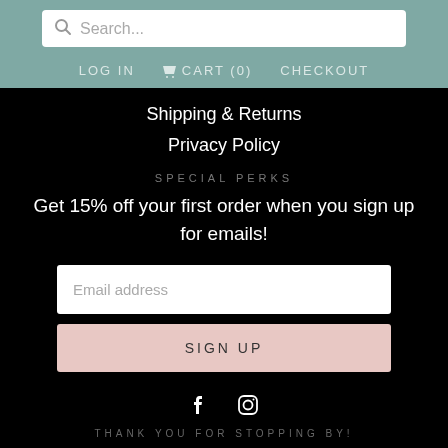Search... | LOG IN | CART (0) | CHECKOUT
Shipping & Returns
Privacy Policy
SPECIAL PERKS
Get 15% off your first order when you sign up for emails!
Email address
SIGN UP
[Figure (infographic): Facebook and Instagram social media icons]
THANK YOU FOR STOPPING BY!